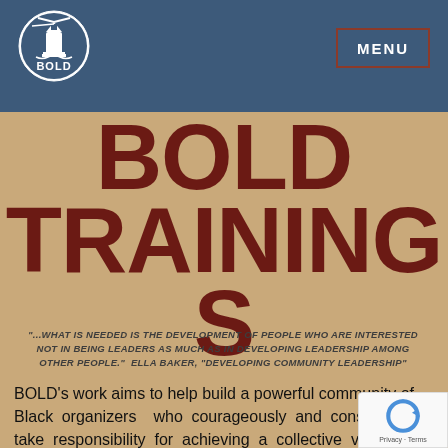BOLD | MENU
BOLD TRAININGS
"...WHAT IS NEEDED IS THE DEVELOPMENT OF PEOPLE WHO ARE INTERESTED NOT IN BEING LEADERS AS MUCH AS IN DEVELOPING LEADERSHIP AMONG OTHER PEOPLE." ELLA BAKER, "DEVELOPING COMMUNITY LEADERSHIP"
BOLD's work aims to help build a powerful community of Black organizers who courageously and consistently take responsibility for achieving a collective vision of liberation, even in the face of uncertain and changing conditions.